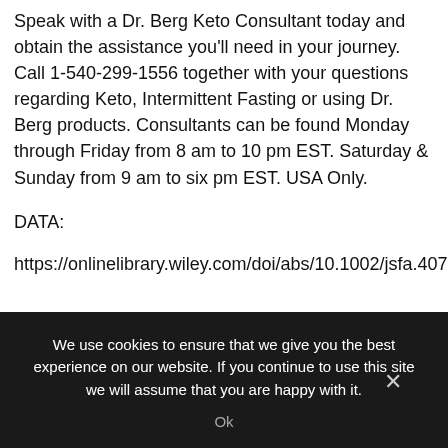Speak with a Dr. Berg Keto Consultant today and obtain the assistance you'll need in your journey. Call 1-540-299-1556 together with your questions regarding Keto, Intermittent Fasting or using Dr. Berg products. Consultants can be found Monday through Friday from 8 am to 10 pm EST. Saturday & Sunday from 9 am to six pm EST. USA Only.
DATA:
https://onlinelibrary.wiley.com/doi/abs/10.1002/jsfa.4076
We use cookies to ensure that we give you the best experience on our website. If you continue to use this site we will assume that you are happy with it.
Ok